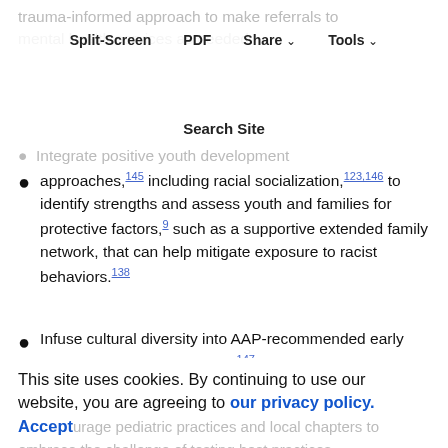Split-Screen  PDF  Share  Tools
trauma-informed approach to make referrals to mental health services as needed.
Search Site
Integrate positive youth development approaches,145 including racial socialization,123,146 to identify strengths and assess youth and families for protective factors,9 such as a supportive extended family network, that can help mitigate exposure to racist behaviors.138
Infuse cultural diversity into AAP-recommended early literacy–promotion programs147 to ensure that there is a representation of authors, images, and stories that reflect the cultural diversity of
This site uses cookies. By continuing to use our website, you are agreeing to our privacy policy. Accept
urage pediatric practices and local chapters to embrace the challenge of testing best practices